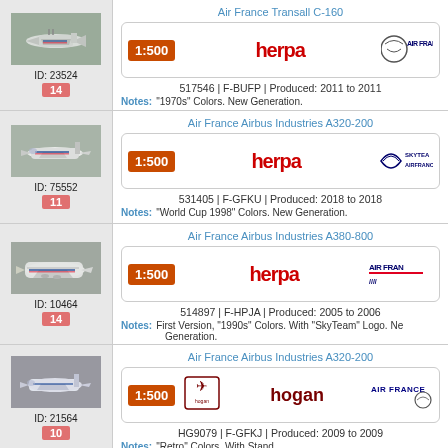[Figure (photo): Air France Transall C-160 model aircraft photo, ID 23524, badge 14]
Air France Transall C-160
1:500 herpa AIR FRANCE
517546 | F-BUFP | Produced: 2011 to 2011
Notes: "1970s" Colors. New Generation.
[Figure (photo): Air France Airbus Industries A320-200 model aircraft photo, ID 75552, badge 11]
Air France Airbus Industries A320-200
1:500 herpa SKYTEAM AIRFRANCE
531405 | F-GFKU | Produced: 2018 to 2018
Notes: "World Cup 1998" Colors. New Generation.
[Figure (photo): Air France Airbus Industries A380-800 model aircraft photo, ID 10464, badge 14]
Air France Airbus Industries A380-800
1:500 herpa AIR FRANCE
514897 | F-HPJA | Produced: 2005 to 2006
Notes: First Version, "1990s" Colors. With "SkyTeam" Logo. New Generation.
[Figure (photo): Air France Airbus Industries A320-200 model aircraft photo, ID 21564, badge 10]
Air France Airbus Industries A320-200
1:500 hogan AIR FRANCE
HG9079 | F-GFKJ | Produced: 2009 to 2009
Notes: "Retro" Colors. With Stand.